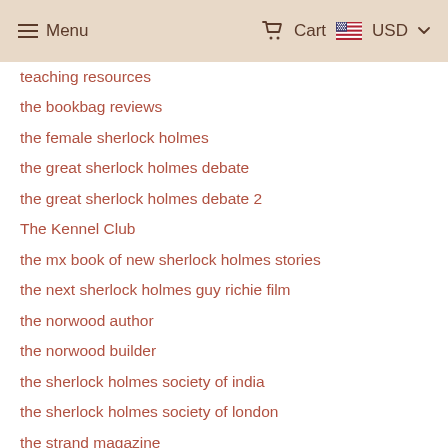Menu  Cart  USD
teaching resources
the bookbag reviews
the female sherlock holmes
the great sherlock holmes debate
the great sherlock holmes debate 2
The Kennel Club
the mx book of new sherlock holmes stories
the next sherlock holmes guy richie film
the norwood author
the norwood builder
the sherlock holmes society of india
the sherlock holmes society of london
the strand magazine
thrillers set in afghanistan
tikal national park